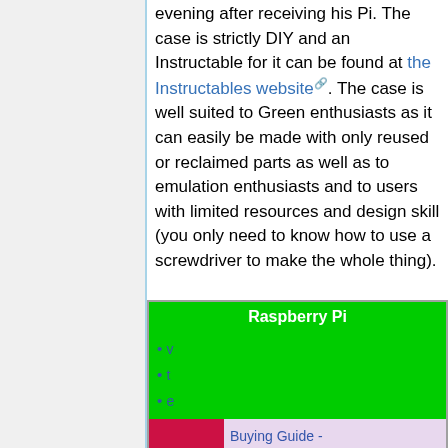evening after receiving his Pi. The case is strictly DIY and an Instructable for it can be found at the Instructables website. The case is well suited to Green enthusiasts as it can easily be made with only reused or reclaimed parts as well as to emulation enthusiasts and to users with limited resources and design skill (you only need to know how to use a screwdriver to make the whole thing).
| Raspberry Pi |
| --- |
| v | t | e |
| (image) | Buying Guide - SD Card Setup - Basic Setup - Advanced... |